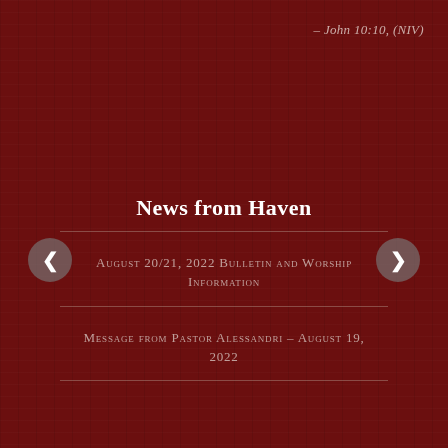– John 10:10, (NIV)
News from Haven
August 20/21, 2022 Bulletin and Worship Information
Message from Pastor Alessandri – August 19, 2022